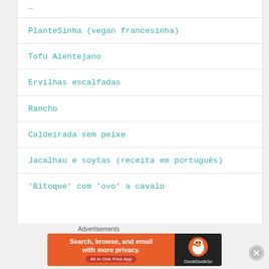PlanteSinha (vegan francesinha)
Tofu Alentejano
Ervilhas escalfadas
Rancho
Caldeirada sem peixe
Jacalhau e soytas (receita em português)
'Bitoque' com 'ovo' a cavalo
[Figure (screenshot): DuckDuckGo advertisement banner: Search, browse, and email with more privacy. All in One Free App]